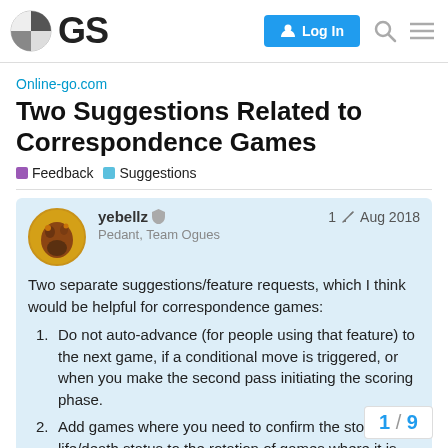OGS — Log In
Online-go.com
Two Suggestions Related to Correspondence Games
Feedback  Suggestions
yebellz  1  Aug 2018
Pedant, Team Ogues
Two separate suggestions/feature requests, which I think would be helpful for correspondence games:
Do not auto-advance (for people using that feature) to the next game, if a conditional move is triggered, or when you make the second pass initiating the scoring phase.
Add games where you need to confirm the stone life/death status to the rotation of games where it is cycled by clicking on the number in t… would be nice to get an email notific…
1 / 9